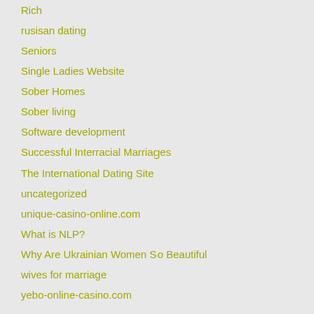Rich
rusisan dating
Seniors
Single Ladies Website
Sober Homes
Sober living
Software development
Successful Interracial Marriages
The International Dating Site
uncategorized
unique-casino-online.com
What is NLP?
Why Are Ukrainian Women So Beautiful
wives for marriage
yebo-online-casino.com